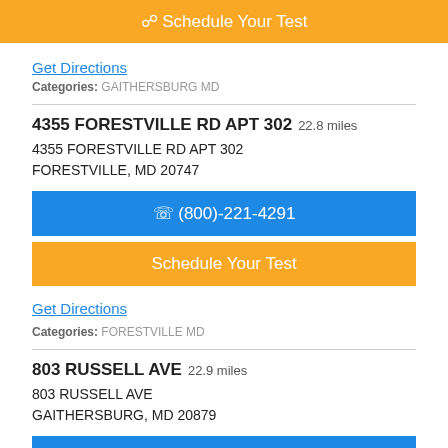[Figure (screenshot): Orange button partially visible at top reading 'Schedule Your Test']
Get Directions
Categories: GAITHERSBURG MD
4355 FORESTVILLE RD APT 302  22.8 miles
4355 FORESTVILLE RD APT 302
FORESTVILLE, MD 20747
(800)-221-4291
Schedule Your Test
Get Directions
Categories: FORESTVILLE MD
803 RUSSELL AVE  22.9 miles
803 RUSSELL AVE
GAITHERSBURG, MD 20879
(800)-221-4291